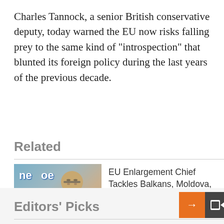Charles Tannock, a senior British conservative deputy, today warned the EU now risks falling prey to the same kind of "introspection" that blunted its foreign policy during the last years of the previous decade.
Related
[Figure (photo): Photo of a man with glasses in front of a blue background with partial text visible]
EU Enlargement Chief Tackles Balkans, Moldova, Eastern Neighbors, And 'Elephant In The Room'
Editors' Picks
Russian Won't Be Tau In Kyiv's Schools. How Ukrainians Feel About